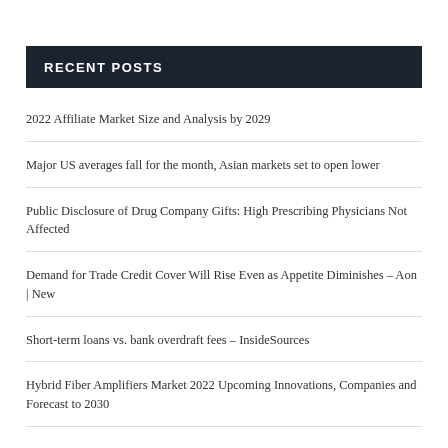RECENT POSTS
2022 Affiliate Market Size and Analysis by 2029
Major US averages fall for the month, Asian markets set to open lower
Public Disclosure of Drug Company Gifts: High Prescribing Physicians Not Affected
Demand for Trade Credit Cover Will Rise Even as Appetite Diminishes – Aon | New
Short-term loans vs. bank overdraft fees – InsideSources
Hybrid Fiber Amplifiers Market 2022 Upcoming Innovations, Companies and Forecast to 2030